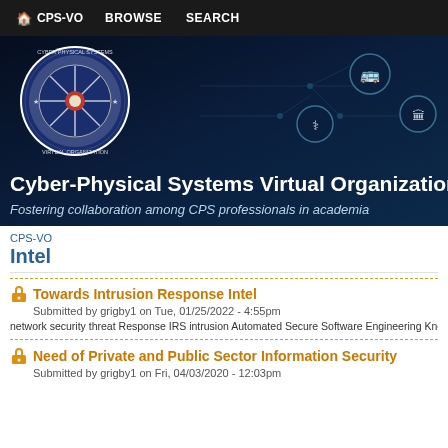CPS-VO  BROWSE  SEARCH
[Figure (screenshot): CPS-VO hero banner with circular organization logo on dark blue background with circuit board lines and icons for transportation, medical, and government sectors]
Cyber-Physical Systems Virtual Organization
Fostering collaboration among CPS professionals in academia
CPS-VO
Intel
Towards Intrusion Response Intel
Submitted by grigby1 on Tue, 01/25/2022 - 4:55pm
network security threat Response IRS intrusion Automated Secure Software Engineering Knowledge engine
Need of Private and Public Sector Information Security
Submitted by grigby1 on Fri, 04/03/2020 - 12:03pm